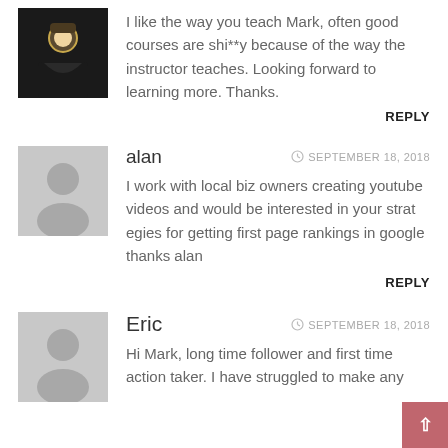[Figure (photo): Dark avatar/profile image of first commenter]
I like the way you teach Mark, often good courses are shi**y because of the way the instructor teaches. Looking forward to learning more. Thanks.
REPLY
[Figure (illustration): Generic grey silhouette avatar for user 'alan']
alan
SEPTEMBER 18, 2018
I work with local biz owners creating youtube videos and would be interested in your strat egies for getting first page rankings in google thanks alan
REPLY
[Figure (illustration): Generic grey silhouette avatar for user 'Eric']
Eric
SEPTEMBER 18, 2018
Hi Mark, long time follower and first time action taker. I have struggled to make any